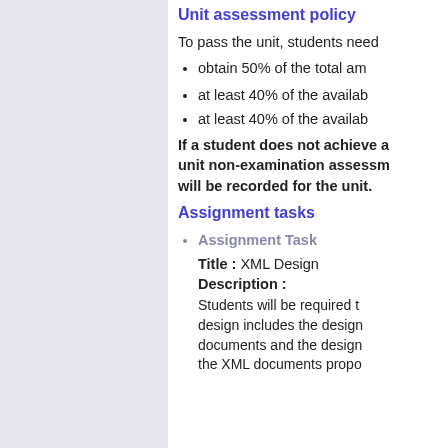Unit assessment policy
To pass the unit, students need
obtain 50% of the total am
at least 40% of the availab
at least 40% of the availab
If a student does not achieve a unit non-examination assessm will be recorded for the unit.
Assignment tasks
Assignment Task
Title : XML Design
Description :
Students will be required t design includes the design documents and the design the XML documents propo